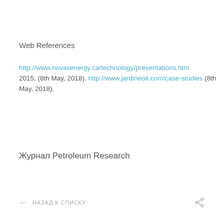Web References
http://www.novasenergy.ca/technology/presentations.htm 2015, (8th May, 2018). http://www.jardineoil.com/case-studies (8th May, 2018).
Журнал Petroleum Research
← НАЗАД К СПИСКУ